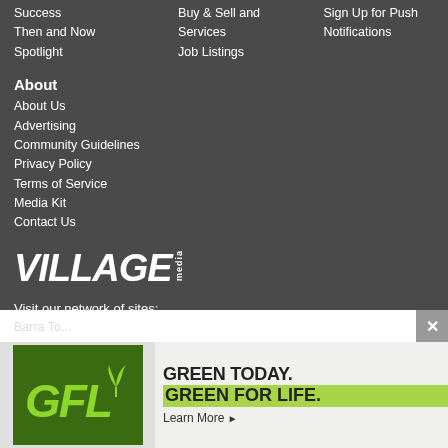Success
Then and Now
Spotlight
Buy & Sell and Services
Job Listings
Sign Up for Push Notifications
About
About Us
Advertising
Community Guidelines
Privacy Policy
Terms of Service
Media Kit
Contact Us
[Figure (logo): Village Media logo in white bold italic text with 'media' in small vertical text]
Visit our network of sites:
[Figure (infographic): GFL advertisement banner: GREEN TODAY. GREEN FOR LIFE. Learn More with GFL logo and plant icon]